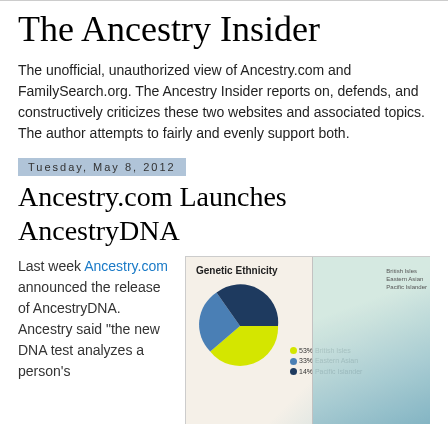The Ancestry Insider
The unofficial, unauthorized view of Ancestry.com and FamilySearch.org. The Ancestry Insider reports on, defends, and constructively criticizes these two websites and associated topics. The author attempts to fairly and evenly support both.
Tuesday, May 8, 2012
Ancestry.com Launches AncestryDNA
Last week Ancestry.com announced the release of AncestryDNA. Ancestry said “the new DNA test analyzes a person’s
[Figure (screenshot): Screenshot of Ancestry.com AncestryDNA feature showing a Genetic Ethnicity pie chart with British Isles, Eastern Asian, and Pacific Islander segments, alongside a world map highlighting regions.]